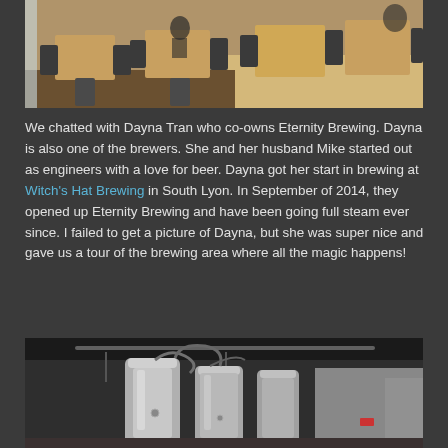[Figure (photo): Interior of Eternity Brewing taproom with wooden tables and black chairs, customers seated]
We chatted with Dayna Tran who co-owns Eternity Brewing. Dayna is also one of the brewers. She and her husband Mike started out as engineers with a love for beer. Dayna got her start in brewing at Witch's Hat Brewing in South Lyon. In September of 2014, they opened up Eternity Brewing and have been going full steam ever since. I failed to get a picture of Dayna, but she was super nice and gave us a tour of the brewing area where all the magic happens!
[Figure (photo): Brewery equipment — large stainless steel tanks and hoses in the Eternity Brewing production area]